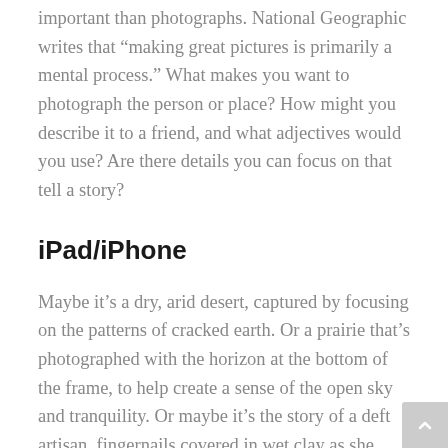important than photographs. National Geographic writes that “making great pictures is primarily a mental process.” What makes you want to photograph the person or place? How might you describe it to a friend, and what adjectives would you use? Are there details you can focus on that tell a story?
iPad/iPhone
Maybe it’s a dry, arid desert, captured by focusing on the patterns of cracked earth. Or a prairie that’s photographed with the horizon at the bottom of the frame, to help create a sense of the open sky and tranquility. Or maybe it’s the story of a deft artisan, fingernails covered in wet clay as she molds a pot. When you’re on the road